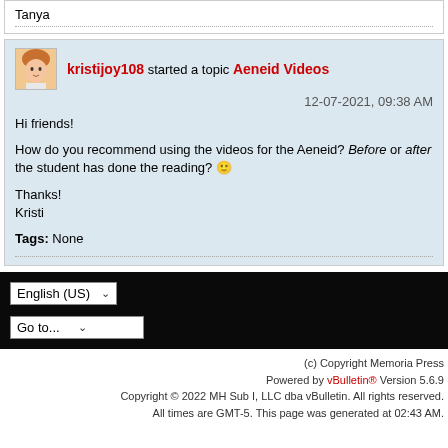Tanya
kristijoy108 started a topic Aeneid Videos
12-07-2021, 09:38 AM
Hi friends!
How do you recommend using the videos for the Aeneid? Before or after the student has done the reading? 😊
Thanks!
Kristi
Tags: None
(c) Copyright Memoria Press
Powered by vBulletin® Version 5.6.9
Copyright © 2022 MH Sub I, LLC dba vBulletin. All rights reserved.
All times are GMT-5. This page was generated at 02:43 AM.